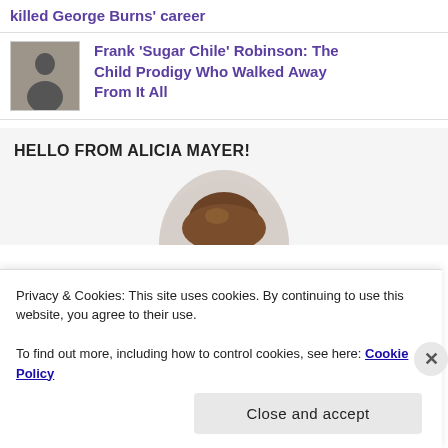killed George Burns' career
[Figure (photo): Black and white thumbnail photo of Frank 'Sugar Chile' Robinson]
Frank 'Sugar Chile' Robinson: The Child Prodigy Who Walked Away From It All
HELLO FROM ALICIA MAYER!
[Figure (photo): Circular profile photo of person showing top of head with brown hair, on light background]
Privacy & Cookies: This site uses cookies. By continuing to use this website, you agree to their use.
To find out more, including how to control cookies, see here: Cookie Policy
Close and accept